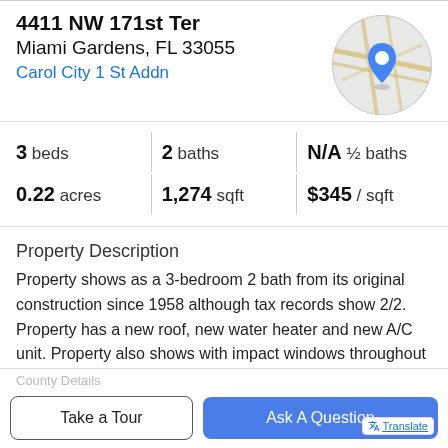4411 NW 171st Ter
Miami Gardens, FL 33055
Carol City 1 St Addn
[Figure (map): Circular map thumbnail showing street map with a blue location pin marker]
|  |  |  |
| --- | --- | --- |
| 3 beds | 2 baths | N/A ½ baths |
| 0.22 acres | 1,274 sqft | $345 / sqft |
Property Description
Property shows as a 3-bedroom 2 bath from its original construction since 1958 although tax records show 2/2. Property has a new roof, new water heater and new A/C unit. Property also shows with impact windows throughout the home. All kitchen appliances are stainless steel and